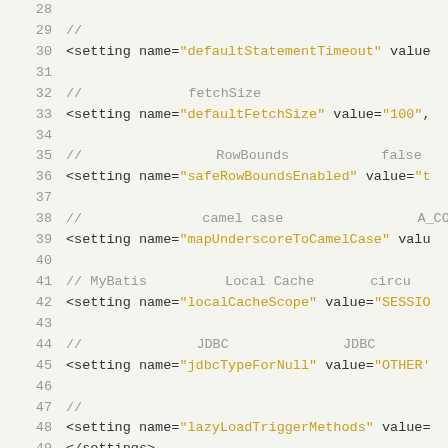[Figure (screenshot): Code editor screenshot showing XML configuration lines 28-49 with line numbers, comments in gray, XML tags in dark, and attribute values in golden/yellow color on a light gray background.]